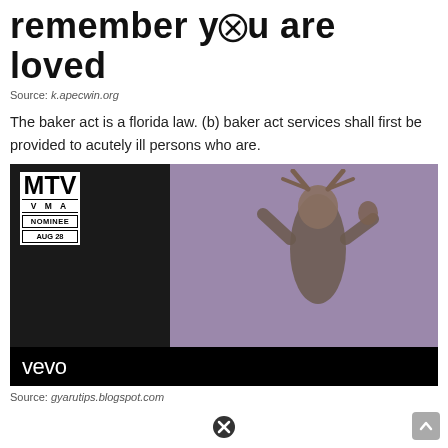remember you are loved
Source: k.apecwin.org
The baker act is a florida law. (b) baker act services shall first be provided to acutely ill persons who are.
[Figure (screenshot): MTV VMA Nominee Aug 28 Vevo video thumbnail showing a performer wearing an animal head costume on a purple-lit stage]
Source: gyarutips.blogspot.com